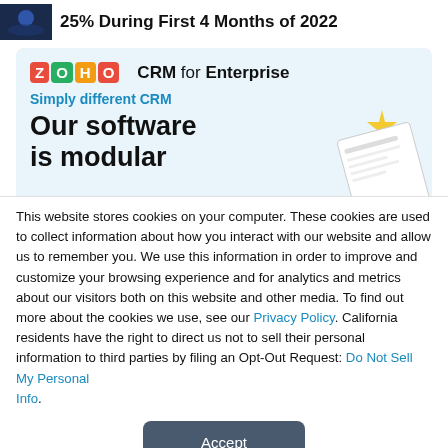25% During First 4 Months of 2022
[Figure (illustration): Zoho CRM for Enterprise advertisement banner with logo, tagline 'Simply different CRM', and headline 'Our software is modular']
This website stores cookies on your computer. These cookies are used to collect information about how you interact with our website and allow us to remember you. We use this information in order to improve and customize your browsing experience and for analytics and metrics about our visitors both on this website and other media. To find out more about the cookies we use, see our Privacy Policy. California residents have the right to direct us not to sell their personal information to third parties by filing an Opt-Out Request: Do Not Sell My Personal Info.
Accept